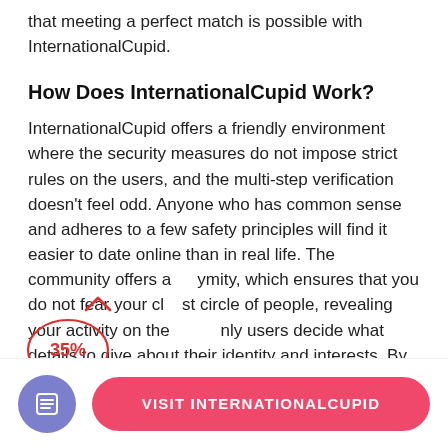that meeting a perfect match is possible with InternationalCupid.
How Does InternationalCupid Work?
InternationalCupid offers a friendly environment where the security measures do not impose strict rules on the users, and the multi-step verification doesn't feel odd. Anyone who has common sense and adheres to a few safety principles will find it easier to date online than in real life. The community offers an ymity, which ensures that you do not fear your closest circle of people, revealing your activity on the : only users decide what details to give about their identity and interests. By writing messages, you can
[Figure (other): Annotation overlay: a red upward arrow caret symbol and a red circle with '35%' text drawn over the body text]
[Figure (other): Bottom action bar with a purple circular icon showing a document/list symbol, and a pink/red pill-shaped button labeled VISIT INTERNATIONALCUPID]